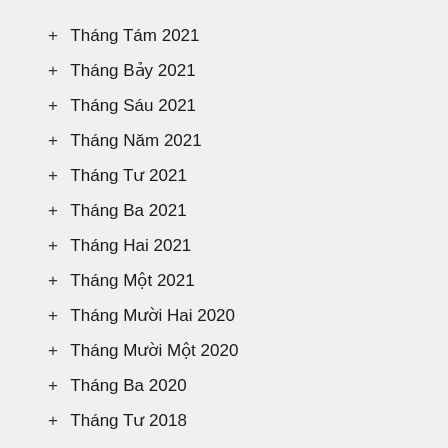+ Tháng Tám 2021
+ Tháng Bảy 2021
+ Tháng Sáu 2021
+ Tháng Năm 2021
+ Tháng Tư 2021
+ Tháng Ba 2021
+ Tháng Hai 2021
+ Tháng Một 2021
+ Tháng Mười Hai 2020
+ Tháng Mười Một 2020
+ Tháng Ba 2020
+ Tháng Tư 2018